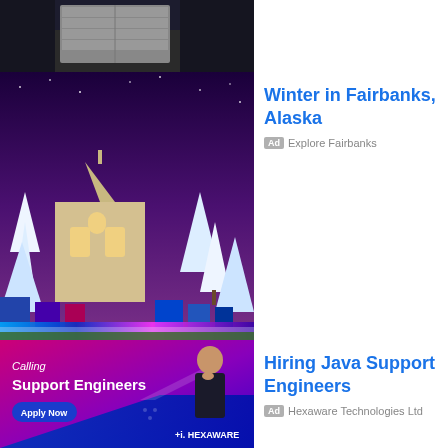[Figure (photo): House with garage door at night, top strip]
[Figure (photo): Winter night scene in Fairbanks Alaska with snow-covered trees, church, and colorful lights]
Winter in Fairbanks, Alaska
Ad  Explore Fairbanks
[Figure (photo): Hexaware Technologies advertisement: Calling Support Engineers, Apply Now button, person in suit, hi. HEXAWARE logo]
Hiring Java Support Engineers
Ad  Hexaware Technologies Ltd
Subscribe for Updates
Your email:
Enter email address...